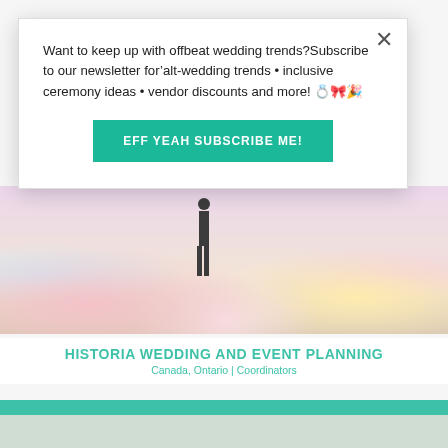Want to keep up with offbeat wedding trends?Subscribe to our newsletter for’alt-wedding trends • inclusive ceremony ideas • vendor discounts and more! 💍🎀🎉
EFF YEAH SUBSCRIBE ME!
[Figure (photo): Wedding scene with pastel balloons, pink flowers and decorations on a wooden floor, with a figure in black standing in the background]
HISTORIA WEDDING AND EVENT PLANNING
Canada, Ontario | Coordinators
[Figure (photo): Partially visible second vendor photo at the bottom of the page]